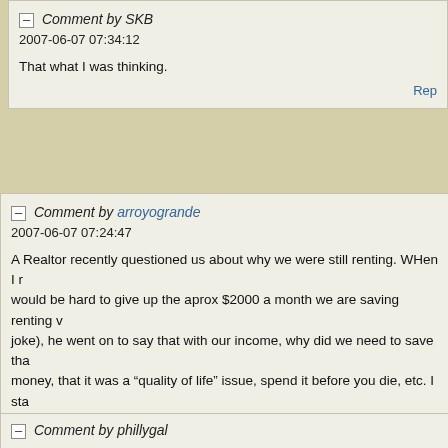Comment by SKB
2007-06-07 07:34:12

That what I was thinking.

Rep
Comment by arroyogrande
2007-06-07 07:24:47

A Realtor recently questioned us about why we were still renting. WHen I would be hard to give up the aprox $2000 a month we are saving renting v joke), he went on to say that with our income, why did we need to save tha money, that it was a "quality of life" issue, spend it before you die, etc. I sta how my wife and I BOTH had unforeseen job changes in the near past, an good thing that we had a good sized emergency fund, or we would have b take jobs that we didn't want, and that we hoped to actually *retire* someo *having* to work. I say "started" because I felt like a moron trying to explai antiquated concepts to someone with today's modern financial attitudes. *

Re
Comment by phillygal